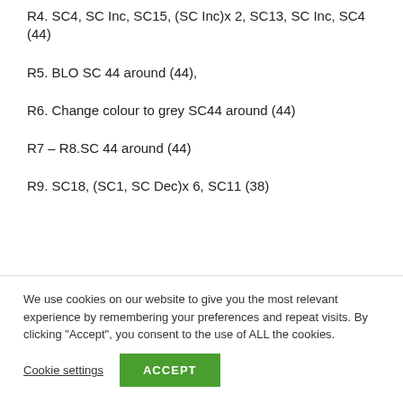R4. SC4, SC Inc, SC15, (SC Inc)x 2, SC13, SC Inc, SC4 (44)
R5. BLO SC 44 around (44),
R6. Change colour to grey SC44 around (44)
R7 – R8.SC 44 around (44)
R9. SC18, (SC1, SC Dec)x 6, SC11 (38)
We use cookies on our website to give you the most relevant experience by remembering your preferences and repeat visits. By clicking “Accept”, you consent to the use of ALL the cookies.
Cookie settings   ACCEPT